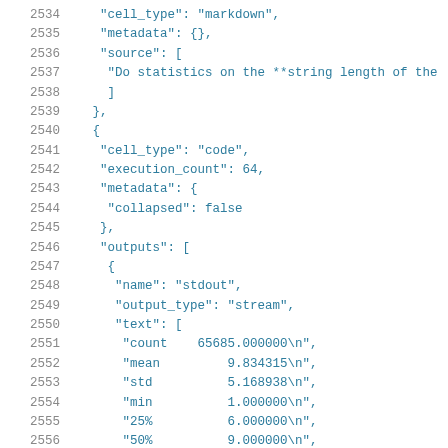Code listing lines 2534–2555 showing JSON notebook cell structure with cell_type, metadata, source, execution_count, outputs fields and statistical output values.